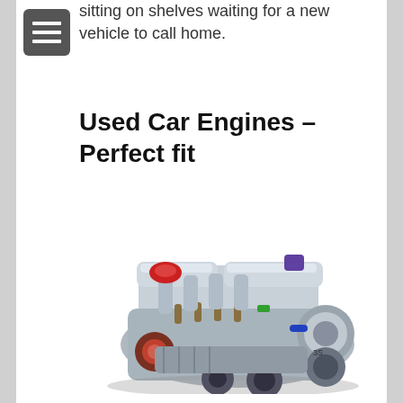sitting on shelves waiting for a new vehicle to call home.
Used Car Engines – Perfect fit
[Figure (photo): Photograph of a used car engine — a silver/aluminum internal combustion engine block with intake manifold, alternator, belts, and various components visible, shown on a white background.]